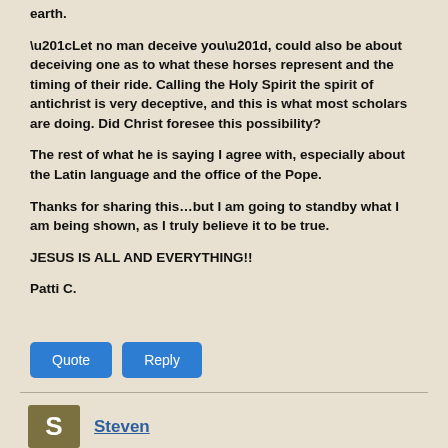earth.
“Let no man deceive you”, could also be about deceiving one as to what these horses represent and the timing of their ride. Calling the Holy Spirit the spirit of antichrist is very deceptive, and this is what most scholars are doing. Did Christ foresee this possibility?
The rest of what he is saying I agree with, especially about the Latin language and the office of the Pope.
Thanks for sharing this…but I am going to standby what I am being shown, as I truly believe it to be true.
JESUS IS ALL AND EVERYTHING!!
Patti C.
Quote | Reply
Steven